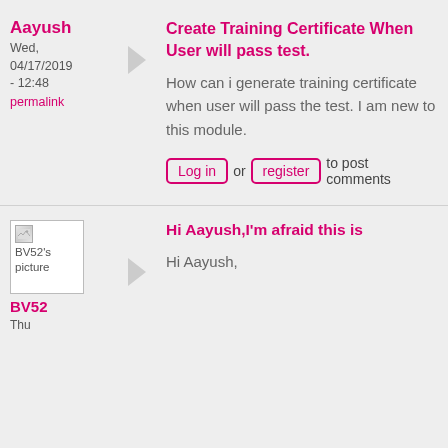Aayush
Wed, 04/17/2019 - 12:48
permalink
Create Training Certificate When User will pass test.
How can i generate training certificate when user will pass the test. I am new to this module.
Log in or register to post comments
[Figure (illustration): Broken image placeholder labeled BV52's picture]
BV52
Thu
Hi Aayush,I'm afraid this is
Hi Aayush,